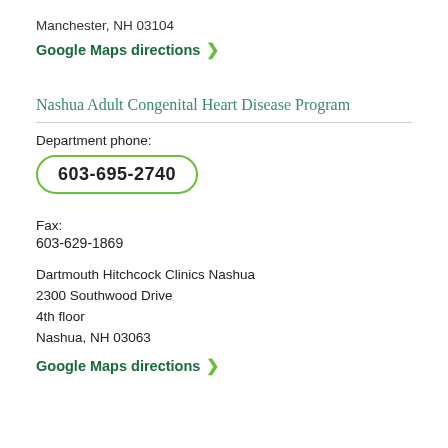Manchester, NH 03104
Google Maps directions ❯
Nashua Adult Congenital Heart Disease Program
Department phone:
603-695-2740
Fax:
603-629-1869
Dartmouth Hitchcock Clinics Nashua
2300 Southwood Drive
4th floor
Nashua, NH 03063
Google Maps directions ❯